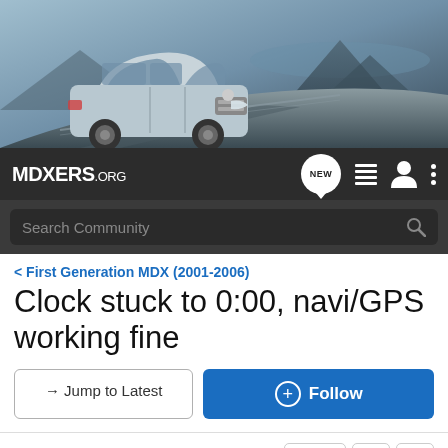[Figure (screenshot): Website header banner showing an Acura MDX SUV on a winding road with mountains and water in the background]
MDXERS.ORG — navigation bar with NEW chat bubble, list icon, user icon, and more options icon
Search Community
< First Generation MDX (2001-2006)
Clock stuck to 0:00, navi/GPS working fine
→ Jump to Latest
+ Follow
1 - 20 of 77 Posts
1 of 4